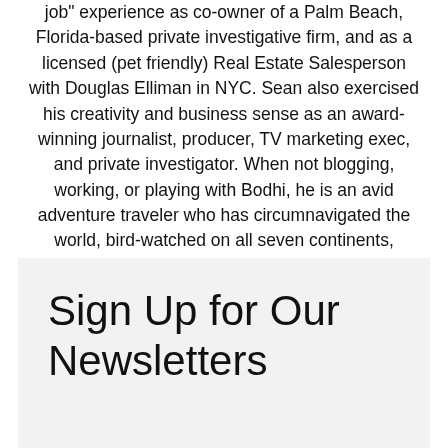job" experience as co-owner of a Palm Beach, Florida-based private investigative firm, and as a licensed (pet friendly) Real Estate Salesperson with Douglas Elliman in NYC. Sean also exercised his creativity and business sense as an award-winning journalist, producer, TV marketing exec, and private investigator. When not blogging, working, or playing with Bodhi, he is an avid adventure traveler who has circumnavigated the world, bird-watched on all seven continents, safari-ed in Africa, and SCUBA-dived in exotic waters.
Sign Up for Our Newsletters